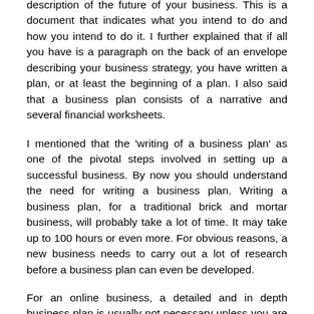description of the future of your business. This is a document that indicates what you intend to do and how you intend to do it. I further explained that if all you have is a paragraph on the back of an envelope describing your business strategy, you have written a plan, or at least the beginning of a plan. I also said that a business plan consists of a narrative and several financial worksheets.
I mentioned that the 'writing of a business plan' as one of the pivotal steps involved in setting up a successful business. By now you should understand the need for writing a business plan. Writing a business plan, for a traditional brick and mortar business, will probably take a lot of time. It may take up to 100 hours or even more. For obvious reasons, a new business needs to carry out a lot of research before a business plan can even be developed.
For an online business, a detailed and in depth business plan is usually not necessary unless you are trying to combine